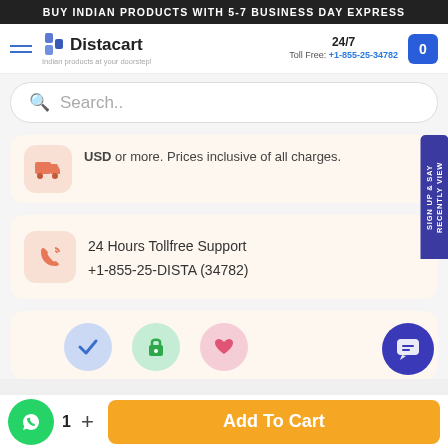BUY INDIAN PRODUCTS WITH 5-7 BUSINESS DAY EXPRESS
[Figure (screenshot): Distacart e-commerce website navigation bar with logo, 24/7 toll free number +1-855-25-34782, and cart button]
[Figure (screenshot): Search bar with placeholder text 'Search..']
USD or more. Prices inclusive of all charges.
24 Hours Tollfree Support
+1-855-25-DISTA (34782)
[Figure (screenshot): Bottom section showing trust icons (blue checkmark, green lock, pink heart) and Add To Cart button with WhatsApp button and quantity selector showing 1]